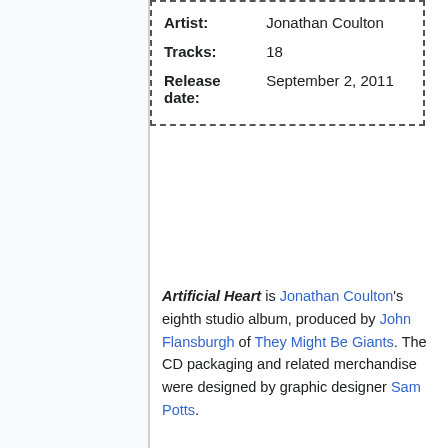| Field | Value |
| --- | --- |
| Artist: | Jonathan Coulton |
| Tracks: | 18 |
| Release date: | September 2, 2011 |
Artificial Heart is Jonathan Coulton's eighth studio album, produced by John Flansburgh of They Might Be Giants. The CD packaging and related merchandise were designed by graphic designer Sam Potts.
History
In 2010, Jonathan Coulton announced that his long hiatus from recording new material was ending. After Coulton opened for They Might Be Giants earlier that year, John Flansburgh suggested